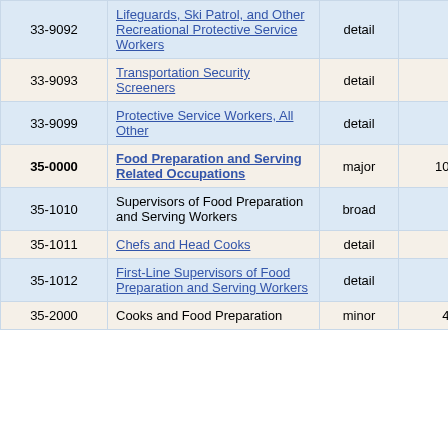| Code | Title | Level | Employment |  |
| --- | --- | --- | --- | --- |
| 33-9092 | Lifeguards, Ski Patrol, and Other Recreational Protective Service Workers | detail | 310 |  |
| 33-9093 | Transportation Security Screeners | detail | 50 |  |
| 33-9099 | Protective Service Workers, All Other | detail | 310 |  |
| 35-0000 | Food Preparation and Serving Related Occupations | major | 109,050 |  |
| 35-1010 | Supervisors of Food Preparation and Serving Workers | broad | 8,150 |  |
| 35-1011 | Chefs and Head Cooks | detail | 1,150 |  |
| 35-1012 | First-Line Supervisors of Food Preparation and Serving Workers | detail | 7,000 |  |
| 35-2000 | Cooks and Food Preparation | minor | 42,270 |  |